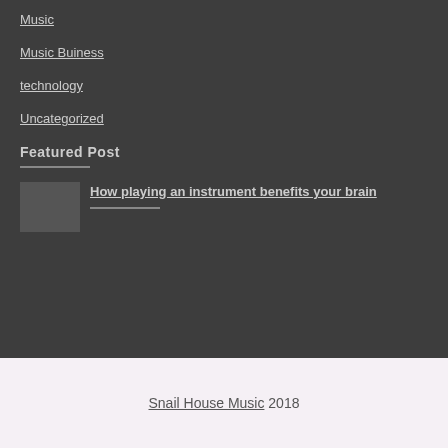Music
Music Buiness
technology
Uncategorized
Featured Post
How playing an instrument benefits your brain
Snail House Music 2018